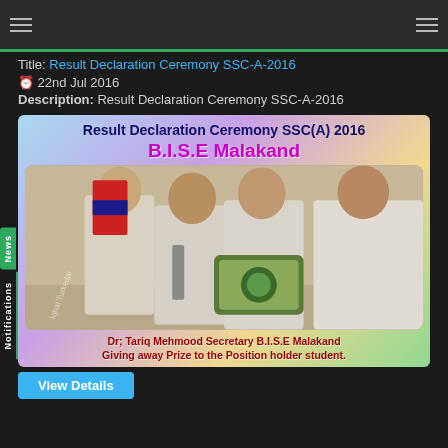Navigation bar with hamburger menus
Title: Result Declaration Ceremony SSC-A-2016
22nd Jul 2016
Description: Result Declaration Ceremony SSC-A-2016
[Figure (photo): Result Declaration Ceremony SSC(A) 2016 B.I.S.E Malakand banner with photo of Dr. Tariq Mehmood Secretary B.I.S.E Malakand giving away prize to a position holder student at an award ceremony.]
Dr; Tariq Mehmood Secretary B.I.S.E Malakand Giving away Prize to the Position holder student.
View Details